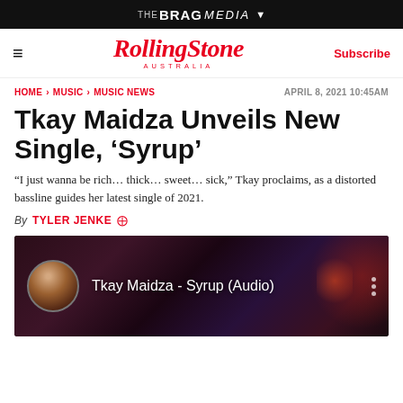THE BRAG MEDIA ▼
[Figure (logo): Rolling Stone Australia logo in red italic serif font with AUSTRALIA subtitle]
Subscribe
HOME > MUSIC > MUSIC NEWS
APRIL 8, 2021 10:45AM
Tkay Maidza Unveils New Single, 'Syrup'
“I just wanna be rich… thick… sweet… sick,” Tkay proclaims, as a distorted bassline guides her latest single of 2021.
By TYLER JENKE
[Figure (screenshot): YouTube video thumbnail for Tkay Maidza - Syrup (Audio) showing a dark scene with car lights, with a circular artist photo on the left]